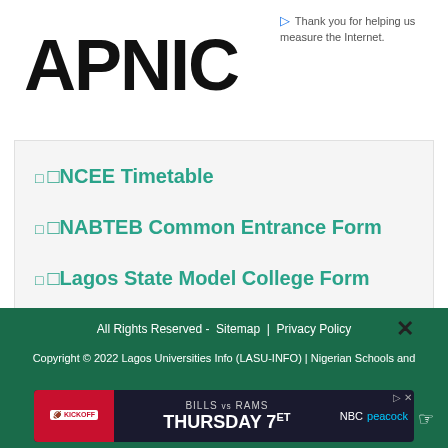APNIC
Thank you for helping us measure the Internet.
NCEE Timetable
NABTEB Common Entrance Form
Lagos State Model College Form
All Rights Reserved -  Sitemap  |  Privacy Policy
Copyright © 2022 Lagos Universities Info (LASU-INFO) | Nigerian Schools and
[Figure (screenshot): Advertisement banner: BILLS vs RAMS KICKOFF THURSDAY 7ET NBC peacock]